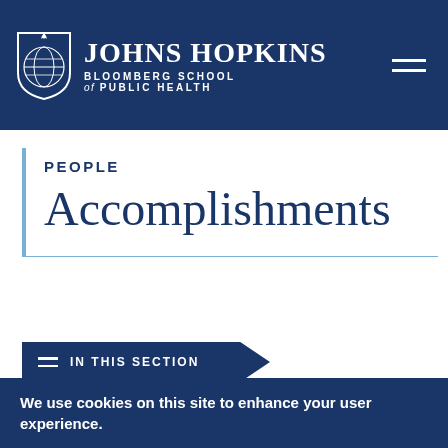Johns Hopkins Bloomberg School of Public Health
PEOPLE
Accomplishments
IN THIS SECTION
We use cookies on this site to enhance your user experience.